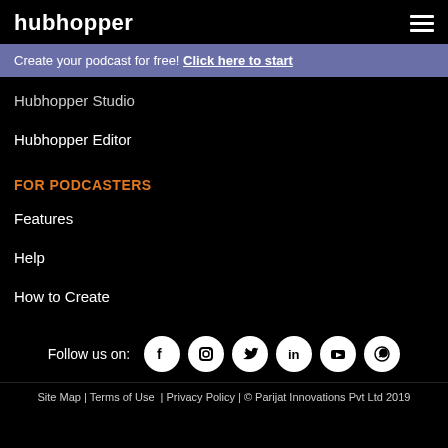hubhopper
Create your podcast for free! Click here to start
Hubhopper Studio
Hubhopper Editor
FOR PODCASTERS
Features
Help
How to Create
Follow us on:
Site Map | Terms of Use  | Privacy Policy | © Parijat Innovations Pvt Ltd 2019